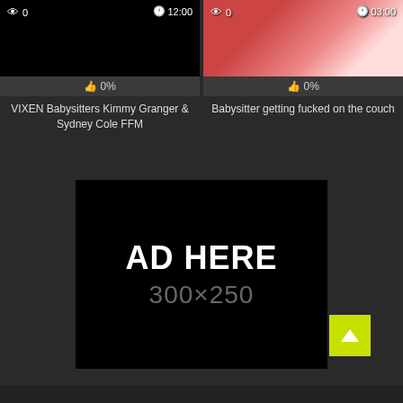[Figure (screenshot): Video thumbnail left - dark/black screen with view count 0 and duration 12:00]
👁 0   🕐 12:00
👍 0%
VIXEN Babysitters Kimmy Granger & Sydney Cole FFM
[Figure (screenshot): Video thumbnail right - person smiling with red/white background, view count 0 and duration 03:00]
👁 0   🕐 03:00
👍 0%
Babysitter getting fucked on the couch
[Figure (other): Advertisement placeholder black box with text AD HERE and dimensions 300x250]
AD HERE
300x250